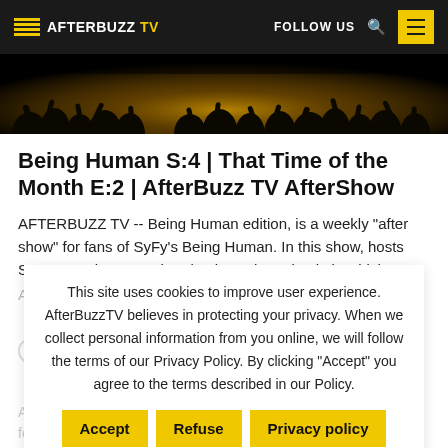AFTERBUZZ TV | FOLLOW US
[Figure (photo): Concert crowd silhouette against warm golden/orange backlit sky]
Being Human S:4 | That Time of the Month E:2 | AfterBuzz TV AfterShow
AFTERBUZZ TV -- Being Human edition, is a weekly "after show" for fans of SyFy's Being Human. In this show, hosts Sean O and Laura O breaks down the episode in which
Aidan and Kat take their relationship to the...
This site uses cookies to improve user experience. AfterBuzzTV believes in protecting your privacy. When we collect personal information from you online, we will follow the terms of our Privacy Policy. By clicking "Accept" you agree to the terms described in our Policy.
Being Human S:4 | Old Darts, New Tricks E:1 |...
AFTERBUZZ TV -- Being Human edition, is a weekly "after show" for fans of SyFy's Being Human. In this show, hosts